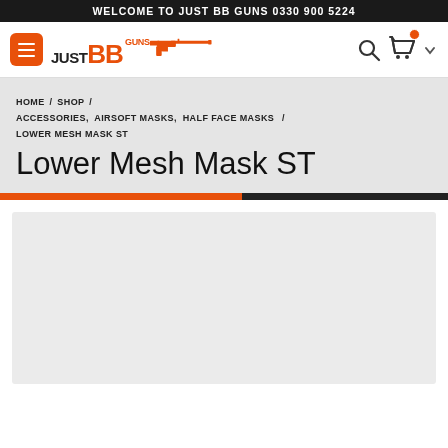WELCOME TO JUST BB GUNS 0330 900 5224
[Figure (logo): Just BB Guns logo with hamburger menu, search icon, and cart icon navigation bar]
HOME / SHOP / ACCESSORIES, AIRSOFT MASKS, HALF FACE MASKS / LOWER MESH MASK ST
Lower Mesh Mask ST
[Figure (photo): Product image placeholder area for Lower Mesh Mask ST]